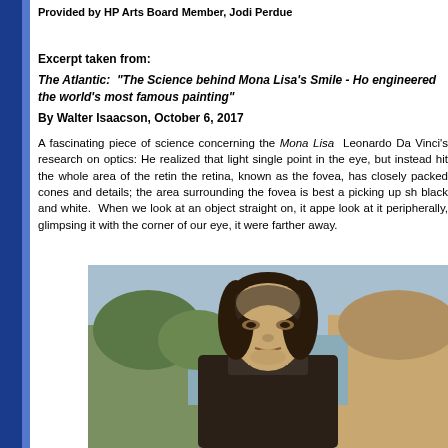Provided by HP Arts Board Member, Jodi Perdue
Excerpt taken from:
The Atlantic:  "The Science behind Mona Lisa's Smile - Ho engineered the world's most famous painting"
By Walter Isaacson, October 6, 2017
A fascinating piece of science concerning the Mona Lisa Leonardo Da Vinci's research on optics: He realized that light single point in the eye, but instead hit the whole area of the retina, the retina, known as the fovea, has closely packed cones and details; the area surrounding the fovea is best a picking up sh black and white.  When we look at an object straight on, it appe look at it peripherally, glimpsing it with the corner of our eye, it were farther away.
[Figure (photo): Photograph of the Mona Lisa painting showing the subject's face and upper body with a landscape background]